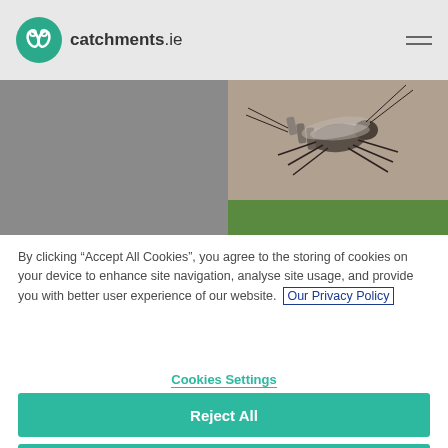catchments.ie
[Figure (photo): Close-up photograph of an insect (stonefly or similar aquatic insect) on a surface, with a green background section visible below]
By clicking “Accept All Cookies”, you agree to the storing of cookies on your device to enhance site navigation, analyse site usage, and provide you with better user experience of our website. Our Privacy Policy
Cookies Settings
Reject All
Accept All Cookies